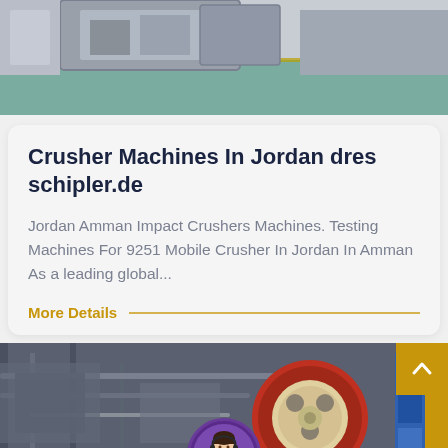[Figure (photo): Top portion of industrial crusher machine equipment, partial view showing grey machinery and green/teal floor surface]
Crusher Machines In Jordan dres schipler.de
Jordan Amman Impact Crushers Machines. Testing Machines For 9251 Mobile Crusher In Jordan In Amman As a leading global...
More Details —
[Figure (photo): Industrial factory interior showing heavy machinery, red circular crusher wheel, pipes, and structural elements with blue signage on right side]
Leave Message
Chat Online